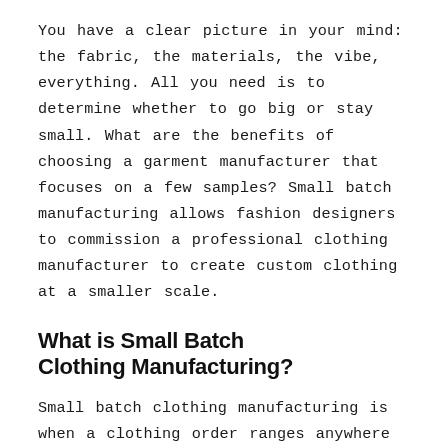You have a clear picture in your mind: the fabric, the materials, the vibe, everything. All you need is to determine whether to go big or stay small. What are the benefits of choosing a garment manufacturer that focuses on a few samples? Small batch manufacturing allows fashion designers to commission a professional clothing manufacturer to create custom clothing at a smaller scale.
What is Small Batch Clothing Manufacturing?
Small batch clothing manufacturing is when a clothing order ranges anywhere from 30 to 500